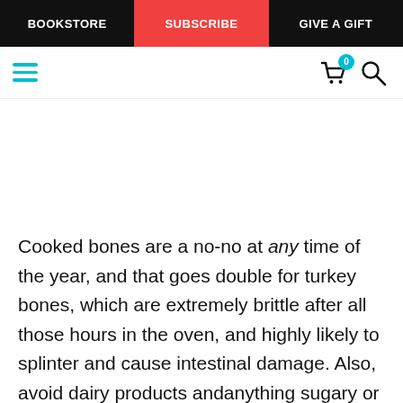BOOKSTORE | SUBSCRIBE | GIVE A GIFT
[Figure (screenshot): Website navigation bar with hamburger menu icon (teal), cart icon with badge showing 0, and search icon]
Cooked bones are a no-no at any time of the year, and that goes double for turkey bones, which are extremely brittle after all those hours in the oven, and highly likely to splinter and cause intestinal damage. Also, avoid dairy products andanything sugary or salty and steer clear ofturkey skin, turkey fat, and